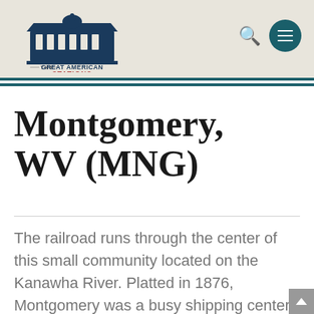[Figure (logo): The Great American Stations logo with a building/station illustration above the text]
Montgomery, WV (MNG)
The railroad runs through the center of this small community located on the Kanawha River. Platted in 1876, Montgomery was a busy shipping center for more than two dozen coal operations by the early 20th century.